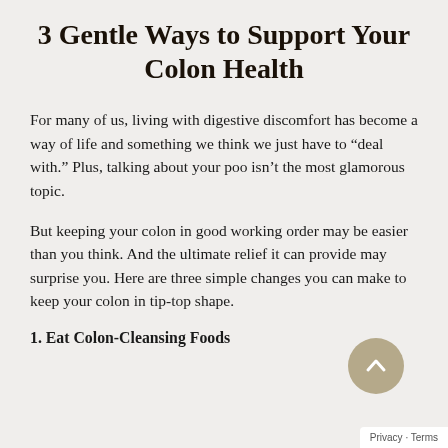3 Gentle Ways to Support Your Colon Health
For many of us, living with digestive discomfort has become a way of life and something we think we just have to “deal with.” Plus, talking about your poo isn’t the most glamorous topic.
But keeping your colon in good working order may be easier than you think. And the ultimate relief it can provide may surprise you. Here are three simple changes you can make to keep your colon in tip-top shape.
1. Eat Colon-Cleansing Foods